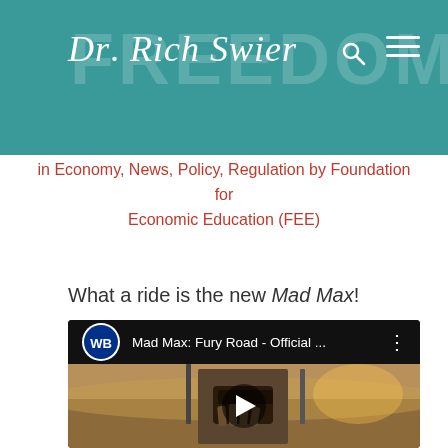Dr. Rich Swier
in Economy, News, Policy, Regulation by Foundation for Economic Education (FEE)
What a ride is the new Mad Max!
[Figure (screenshot): YouTube video thumbnail for 'Mad Max: Fury Road - Official ...' with Warner Bros logo, showing a man in a metal mask in a desert scene with a play button overlay]